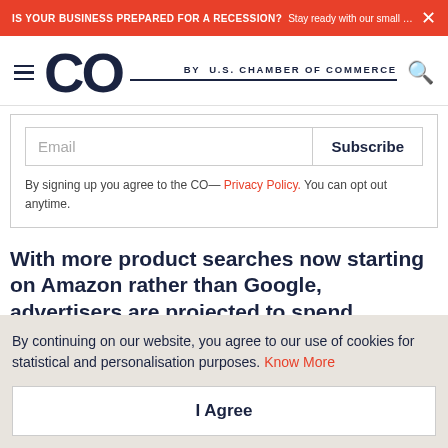IS YOUR BUSINESS PREPARED FOR A RECESSION? Stay ready with our small busin...
[Figure (logo): CO by U.S. Chamber of Commerce logo with hamburger menu and search icon]
Email Subscribe
By signing up you agree to the CO— Privacy Policy. You can opt out anytime.
With more product searches now starting on Amazon rather than Google, advertisers are projected to spend
By continuing on our website, you agree to our use of cookies for statistical and personalisation purposes. Know More
I Agree